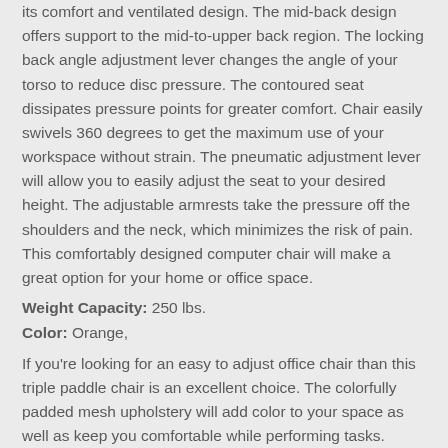its comfort and ventilated design. The mid-back design offers support to the mid-to-upper back region. The locking back angle adjustment lever changes the angle of your torso to reduce disc pressure. The contoured seat dissipates pressure points for greater comfort. Chair easily swivels 360 degrees to get the maximum use of your workspace without strain. The pneumatic adjustment lever will allow you to easily adjust the seat to your desired height. The adjustable armrests take the pressure off the shoulders and the neck, which minimizes the risk of pain. This comfortably designed computer chair will make a great option for your home or office space.
Weight Capacity: 250 lbs.
Color: Orange,
If you're looking for an easy to adjust office chair than this triple paddle chair is an excellent choice. The colorfully padded mesh upholstery will add color to your space as well as keep you comfortable while performing tasks. Mesh office chairs can keep you more productive throughout your work day with its comfort and ventilated design. The mid-back...